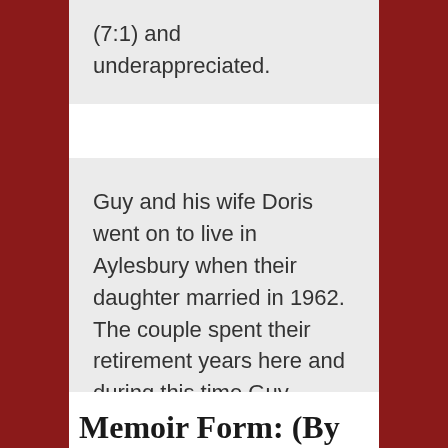(7:1) and underappreciated.
Guy and his wife Doris went on to live in Aylesbury when their daughter married in 1962. The couple spent their retirement years here and during this time Guy decided to write his memoir.
Memoir Form: (By Sarah